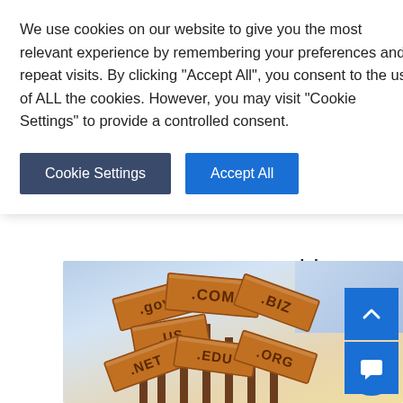that the
, best to go
, consider
[Figure (illustration): Illustration of wooden signposts with domain name extensions (.gov, .com, .biz, .us, .net, .edu, .org) against a gradient sky background]
We use cookies on our website to give you the most relevant experience by remembering your preferences and repeat visits. By clicking “Accept All”, you consent to the use of ALL the cookies. However, you may visit "Cookie Settings" to provide a controlled consent.